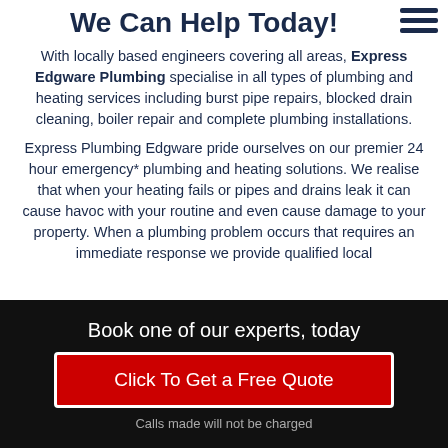We Can Help Today!
With locally based engineers covering all areas, Express Edgware Plumbing specialise in all types of plumbing and heating services including burst pipe repairs, blocked drain cleaning, boiler repair and complete plumbing installations.
Express Plumbing Edgware pride ourselves on our premier 24 hour emergency* plumbing and heating solutions. We realise that when your heating fails or pipes and drains leak it can cause havoc with your routine and even cause damage to your property. When a plumbing problem occurs that requires an immediate response we provide qualified local
Book one of our experts, today
Click To Get a Free Quote
Calls made will not be charged